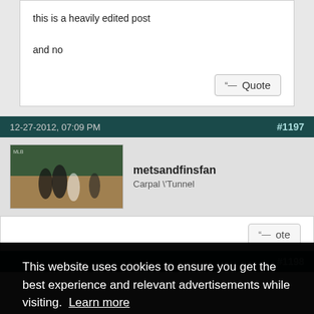this is a heavily edited post

and no
Quote
12-27-2012, 07:09 PM
#1197
[Figure (photo): Avatar image of a baseball game scene]
metsandfinsfan
Carpal \'Tunnel
ote (partially visible Quote button)
#1198
This website uses cookies to ensure you get the best experience and relevant advertisements while visiting. Learn more
Got it!